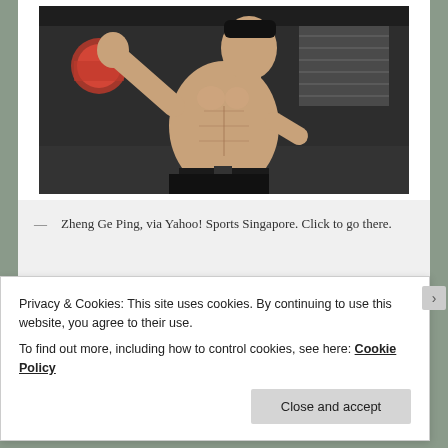[Figure (photo): A shirtless athletic male martial artist posing in a martial arts stance with one hand raised, in an indoor setting with lion dance decorations visible in background]
— Zheng Ge Ping, via Yahoo! Sports Singapore. Click to go there.
[Figure (other): Advertisement banner with gradient from orange to purple]
Privacy & Cookies: This site uses cookies. By continuing to use this website, you agree to their use.
To find out more, including how to control cookies, see here: Cookie Policy